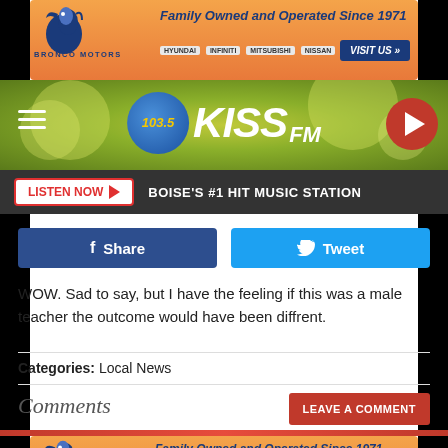[Figure (other): Bronco Motors advertisement banner - Family Owned and Operated Since 1971, with car brand logos and VISIT US button]
[Figure (other): 103.5 KISS FM radio station header with yellow-green bokeh background, hamburger menu, logo, and red play button]
[Figure (other): LISTEN NOW button with play arrow and text BOISE'S #1 HIT MUSIC STATION on dark background]
[Figure (other): Facebook Share button (dark blue) and Twitter Tweet button (light blue)]
WOW. Sad to say, but I have the feeling if this was a male teacher the outcome would have been diffrent.
Categories: Local News
Comments
[Figure (other): LEAVE A COMMENT red button]
[Figure (other): Bronco Motors advertisement banner - Family Owned and Operated Since 1971 at bottom]